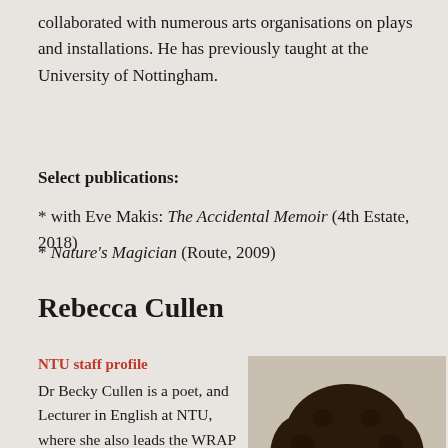collaborated with numerous arts organisations on plays and installations. He has previously taught at the University of Nottingham.
Select publications:
* with Eve Makis: The Accidental Memoir (4th Estate, 2018)
* Nature's Magician (Route, 2009)
Rebecca Cullen
NTU staff profile
Dr Becky Cullen is a poet, and Lecturer in English at NTU, where she also leads the WRAP programme. She is
[Figure (photo): Headshot photo of Rebecca Cullen, a woman with curly dark hair and glasses]